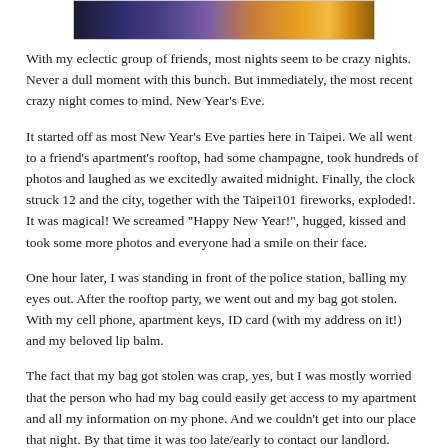[Figure (photo): Nighttime cityscape photo, likely Taipei, with bright lights and urban scenery]
With my eclectic group of friends, most nights seem to be crazy nights. Never a dull moment with this bunch. But immediately, the most recent crazy night comes to mind. New Year’s Eve.
It started off as most New Year’s Eve parties here in Taipei. We all went to a friend’s apartment’s rooftop, had some champagne, took hundreds of photos and laughed as we excitedly awaited midnight. Finally, the clock struck 12 and the city, together with the Taipei101 fireworks, exploded!. It was magical! We screamed “Happy New Year!”, hugged, kissed and took some more photos and everyone had a smile on their face.
One hour later, I was standing in front of the police station, balling my eyes out. After the rooftop party, we went out and my bag got stolen. With my cell phone, apartment keys, ID card (with my address on it!) and my beloved lip balm.
The fact that my bag got stolen was crap, yes, but I was mostly worried that the person who had my bag could easily get access to my apartment and all my information on my phone. And we couldn’t get into our place that night. By that time it was too late/early to contact our landlord.